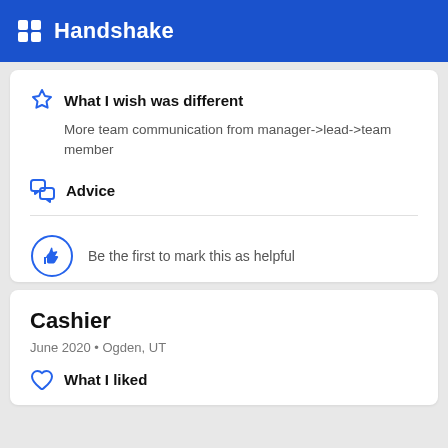Handshake
What I wish was different
More team communication from manager->lead->team member
Advice
Be the first to mark this as helpful
Cashier
June 2020 • Ogden, UT
What I liked